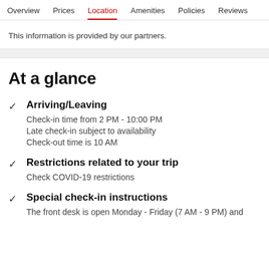Overview  Prices  Location  Amenities  Policies  Reviews
This information is provided by our partners.
At a glance
Arriving/Leaving
Check-in time from 2 PM - 10:00 PM
Late check-in subject to availability
Check-out time is 10 AM
Restrictions related to your trip
Check COVID-19 restrictions
Special check-in instructions
The front desk is open Monday - Friday (7 AM - 9 PM) and